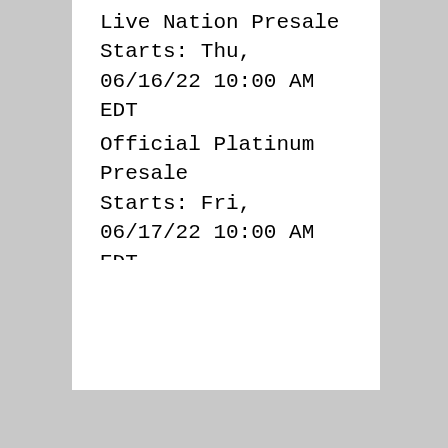Live Nation Presale
Starts: Thu, 06/16/22 10:00 AM EDT
Ends: Thu, 06/16/22 10:00 PM EDT
Official Platinum Presale
Starts: Fri, 06/17/22 10:00 AM EDT
Ends: Sun, 11/27/22 08:00 PM EST